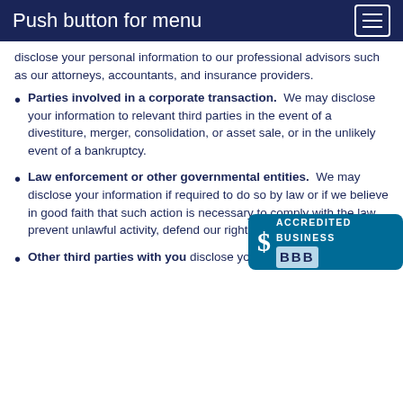Push button for menu
disclose your personal information to our professional advisors such as our attorneys, accountants, and insurance providers.
Parties involved in a corporate transaction.  We may disclose your information to relevant third parties in the event of a divestiture, merger, consolidation, or asset sale, or in the unlikely event of a bankruptcy.
Law enforcement or other governmental entities.  We may disclose your information if required to do so by law or if we believe in good faith that such action is necessary to comply with the law, prevent unlawful activity, defend our rights, or maintain security.
Other third parties with you... disclose your information to a...
[Figure (logo): BBB Accredited Business badge with blue background, S shield logo, and BBB text]